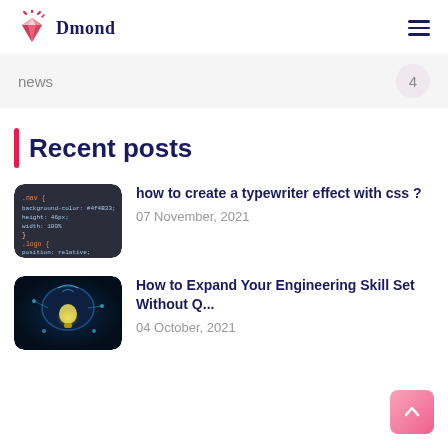Dmond
news   4
Recent posts
[Figure (screenshot): Dark-themed code editor screenshot showing CSS snippet with .nav and .loop selectors]
how to create a typewriter effect with css ?
07 November, 2021
[Figure (photo): Digital brain with glowing light bulb and circuit elements, technology concept illustration]
How to Expand Your Engineering Skill Set Without Q...
04 October, 2021